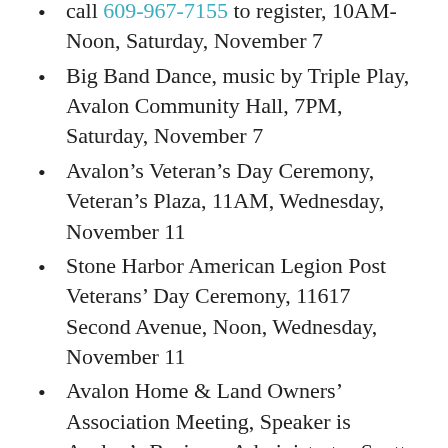call 609-967-7155 to register, 10AM-Noon, Saturday, November 7
Big Band Dance, music by Triple Play, Avalon Community Hall, 7PM, Saturday, November 7
Avalon’s Veteran’s Day Ceremony, Veteran’s Plaza, 11AM, Wednesday, November 11
Stone Harbor American Legion Post Veterans’ Day Ceremony, 11617 Second Avenue, Noon, Wednesday, November 11
Avalon Home & Land Owners’ Association Meeting, Speaker is Avalon’s Business Administrator Scott Wahl, Avalon Senior Center, 10AM, Saturday, November 14
Cape May County’s Disabilities